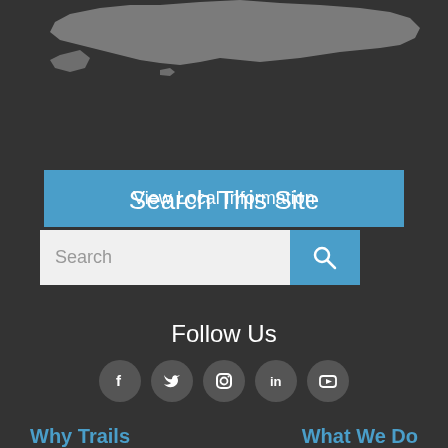[Figure (map): Partial map of the United States shown in gray silhouette at the top of the page]
View Local Information
Search This Site
[Figure (screenshot): Search bar with text input field and blue search button with magnifying glass icon]
Follow Us
[Figure (infographic): Social media icons: Facebook, Twitter, Instagram, LinkedIn, YouTube arranged in a row]
Why Trails
What We Do